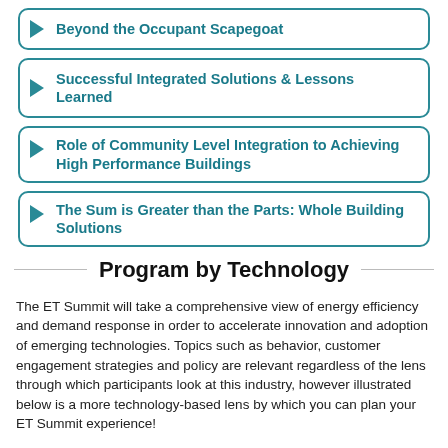Beyond the Occupant Scapegoat
Successful Integrated Solutions & Lessons Learned
Role of Community Level Integration to Achieving High Performance Buildings
The Sum is Greater than the Parts: Whole Building Solutions
Program by Technology
The ET Summit will take a comprehensive view of energy efficiency and demand response in order to accelerate innovation and adoption of emerging technologies. Topics such as behavior, customer engagement strategies and policy are relevant regardless of the lens through which participants look at this industry, however illustrated below is a more technology-based lens by which you can plan your ET Summit experience!